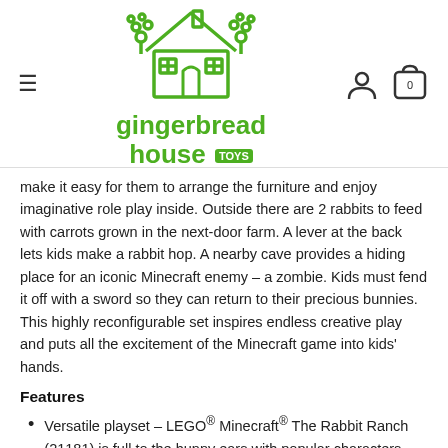gingerbread house toys — navigation header with hamburger menu, logo, user icon, and cart icon
make it easy for them to arrange the furniture and enjoy imaginative role play inside. Outside there are 2 rabbits to feed with carrots grown in the next-door farm. A lever at the back lets kids make a rabbit hop. A nearby cave provides a hiding place for an iconic Minecraft enemy – a zombie. Kids must fend it off with a sword so they can return to their precious bunnies. This highly reconfigurable set inspires endless creative play and puts all the excitement of the Minecraft game into kids' hands.
Features
Versatile playset – LEGO® Minecraft® The Rabbit Ranch (21181) is full to the bunny ears with popular characters,